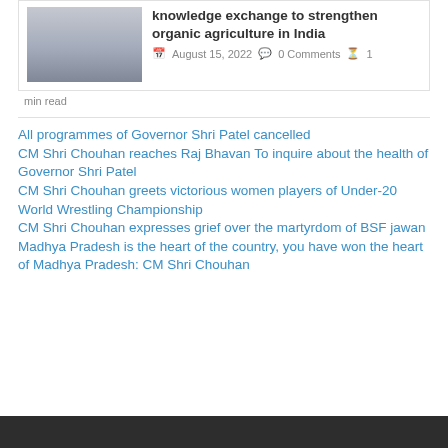[Figure (photo): Group photo of people standing together outdoors]
knowledge exchange to strengthen organic agriculture in India
August 15, 2022   0 Comments   1 min read
All programmes of Governor Shri Patel cancelled
CM Shri Chouhan reaches Raj Bhavan To inquire about the health of Governor Shri Patel
CM Shri Chouhan greets victorious women players of Under-20 World Wrestling Championship
CM Shri Chouhan expresses grief over the martyrdom of BSF jawan
Madhya Pradesh is the heart of the country, you have won the heart of Madhya Pradesh: CM Shri Chouhan